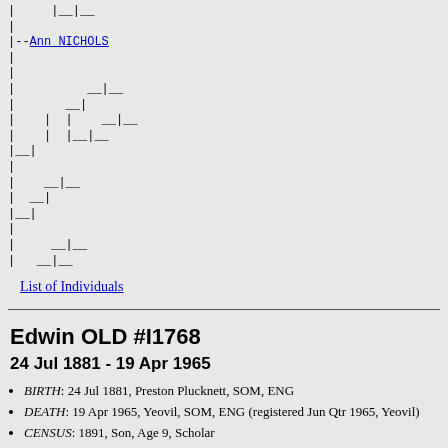[Figure (other): Genealogy tree diagram showing ancestral connections with lines and dashes, including a link to Ann NICHOLS]
List of Individuals
Edwin OLD #I1768
24 Jul 1881 - 19 Apr 1965
BIRTH: 24 Jul 1881, Preston Plucknett, SOM, ENG
DEATH: 19 Apr 1965, Yeovil, SOM, ENG (registered Jun Qtr 1965, Yeovil)
CENSUS: 1891, Son, Age 9, Scholar